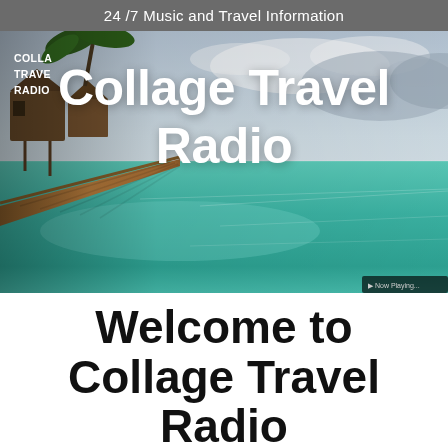24 /7 Music and Travel Information
[Figure (photo): Tropical beach scene with a wooden dock/pier extending over clear turquoise water, overwater bungalows in the background on the left, and large bold white text overlay reading 'Collage Travel Radio' with a smaller 'COLLAGE TRAVEL RADIO' logo block in the upper left corner of the image.]
Welcome to Collage Travel Radio